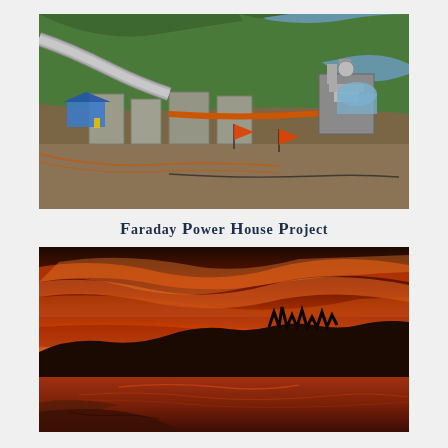[Figure (photo): Aerial view of Faraday Power House construction site showing concrete structures, a blue tent, orange safety flags, large pipes, and a river winding through forested hills in the background.]
Faraday Power House Project
[Figure (photo): Dramatic sunset photo showing a lake or reservoir with vivid orange and red sky, silhouetted mountains and trees along the horizon, with reflections on the water surface.]